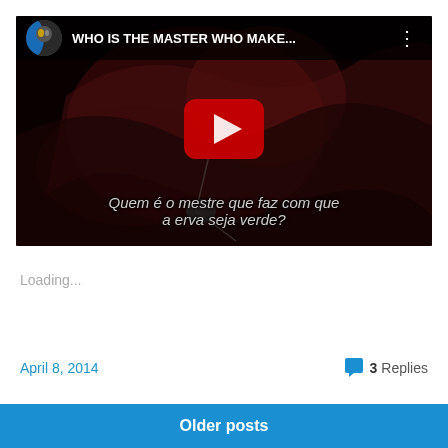[Figure (screenshot): YouTube video thumbnail showing a dark reddish scene with a play button. Title bar reads 'WHO IS THE MASTER WHO MAKE...' with a channel avatar. Subtitle text in Portuguese: 'Quem é o mestre que faz com que a erva seja verde?']
Loading...
April 8, 2014
3 Replies
Older posts